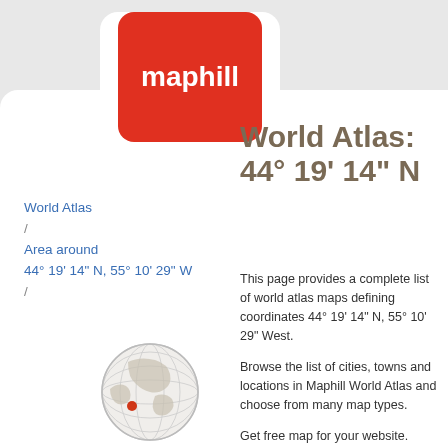[Figure (logo): Maphill logo: red rounded square with white text 'maphill' on white card background]
World Atlas: 44° 19' 14" N
World Atlas / Area around 44° 19' 14" N, 55° 10' 29" W /
This page provides a complete list of world atlas maps defining coordinates 44° 19' 14" N, 55° 10' 29" West.
Browse the list of cities, towns and locations in Maphill World Atlas and choose from many map types.
Get free map for your website. Discover the beauty hidden in the maps. the int...
[Figure (illustration): Small globe illustration showing world map with a red marker dot indicating location]